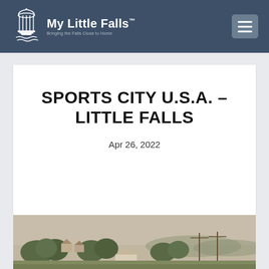My Little Falls™ — Bringing the Falls Close to Home
SPORTS CITY U.S.A. – LITTLE FALLS
Apr 26, 2022
[Figure (photo): Historic sepia-toned postcard-style photograph showing a town scene with trees, a small gazebo or bandstand structure, utility poles, and houses in the background under an overcast sky.]